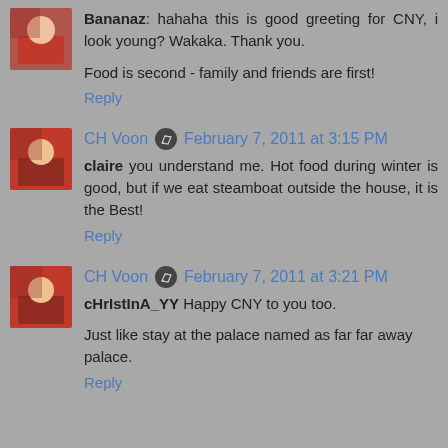Bananaz: hahaha this is good greeting for CNY, i look young? Wakaka. Thank you.

Food is second - family and friends are first!
Reply
CH Voon  February 7, 2011 at 3:15 PM
claire you understand me. Hot food during winter is good, but if we eat steamboat outside the house, it is the Best!
Reply
CH Voon  February 7, 2011 at 3:21 PM
cHrIstInA_YY Happy CNY to you too.

Just like stay at the palace named as far far away palace.
Reply